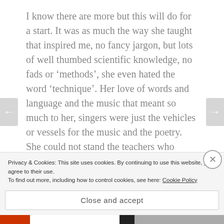I know there are more but this will do for a start. It was as much the way she taught that inspired me, no fancy jargon, but lots of well thumbed scientific knowledge, no fads or ‘methods’, she even hated the word ‘technique’. Her love of words and language and the music that meant so much to her, singers were just the vehicles or vessels for the music and the poetry. She could not stand the teachers who claimed they had all the answers, she was constantly learning herself and we all benefited from her drive to understand how the singing voice
Privacy & Cookies: This site uses cookies. By continuing to use this website, you agree to their use.
To find out more, including how to control cookies, see here: Cookie Policy
Close and accept